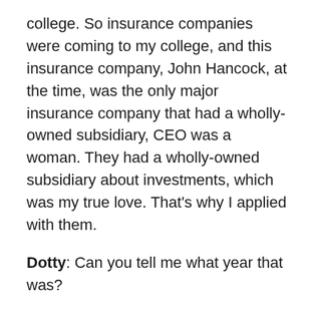college. So insurance companies were coming to my college, and this insurance company, John Hancock, at the time, was the only major insurance company that had a wholly-owned subsidiary, CEO was a woman. They had a wholly-owned subsidiary about investments, which was my true love. That's why I applied with them.
Dotty: Can you tell me what year that was?
Debra: Oh, yeah. 1978. Some of you...